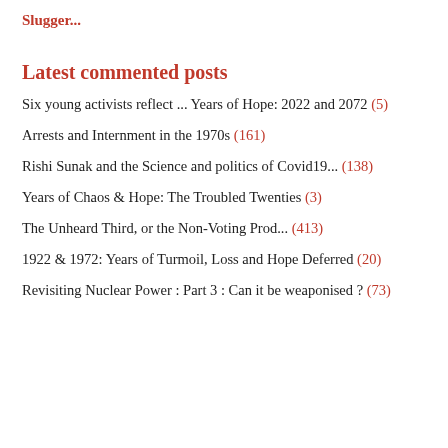Slugger...
Latest commented posts
Six young activists reflect ... Years of Hope: 2022 and 2072 (5)
Arrests and Internment in the 1970s (161)
Rishi Sunak and the Science and politics of Covid19... (138)
Years of Chaos & Hope: The Troubled Twenties (3)
The Unheard Third, or the Non-Voting Prod... (413)
1922 & 1972: Years of Turmoil, Loss and Hope Deferred (20)
Revisiting Nuclear Power : Part 3 : Can it be weaponised ? (73)